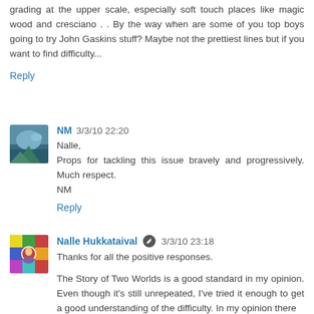grading at the upper scale, especially soft touch places like magic wood and cresciano . . By the way when are some of you top boys going to try John Gaskins stuff? Maybe not the prettiest lines but if you want to find difficulty...
Reply
NM 3/3/10 22:20
Nalle,
Props for tackling this issue bravely and progressively. Much respect.
NM
Reply
Nalle Hukkataival 3/3/10 23:18
Thanks for all the positive responses.
The Story of Two Worlds is a good standard in my opinion. Even though it's still unrepeated, I've tried it enough to get a good understanding of the difficulty. In my opinion there